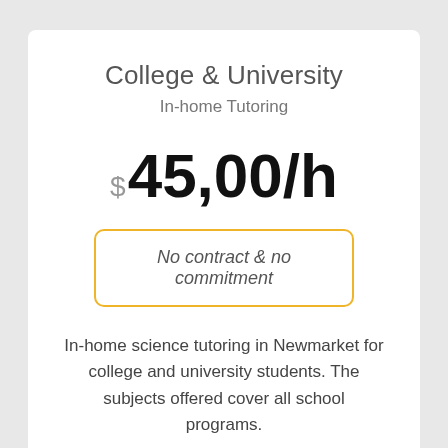College & University
In-home Tutoring
$45,00/h
No contract & no commitment
In-home science tutoring in Newmarket for college and university students. The subjects offered cover all school programs.